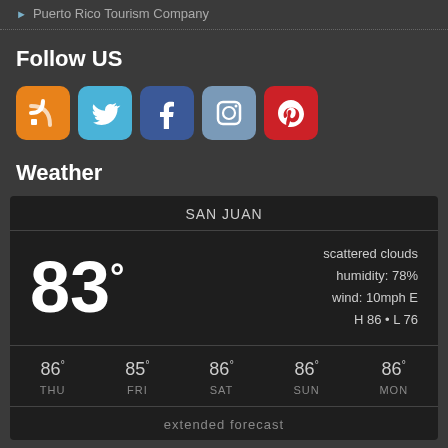Puerto Rico Tourism Company
Follow US
[Figure (infographic): Social media icons: RSS (orange), Twitter (blue), Facebook (dark blue), Instagram (grey-blue), Pinterest (red)]
Weather
[Figure (infographic): Weather widget showing San Juan weather: 83 degrees, scattered clouds, humidity 78%, wind 10mph E, H 86 L 76. Forecast: THU 86, FRI 85, SAT 86, SUN 86, MON 86. Extended forecast link at bottom.]